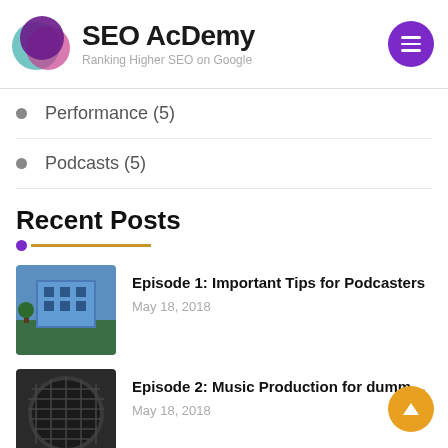SEO AcDemy — Ranking Higher SEO on Google
Performance (5)
Podcasts (5)
Recent Posts
Episode 1: Important Tips for Podcasters — May 18, 2018
Episode 2: Music Production for dumm… — May 18, 2018